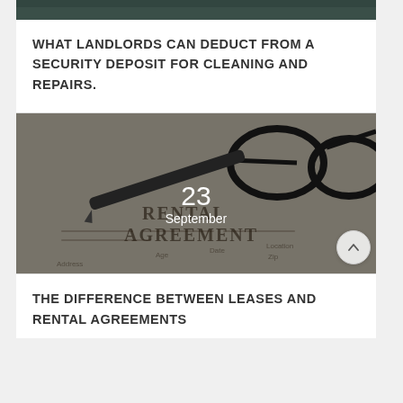[Figure (photo): Top portion of a partially visible image showing a dark teal/green background, appears to be a decorative image strip at top of page]
WHAT LANDLORDS CAN DEDUCT FROM A SECURITY DEPOSIT FOR CLEANING AND REPAIRS.
[Figure (photo): Photo of a rental agreement document with a pen and glasses resting on it. The document shows fields for Age, Address, Date, Location, Zip. Overlaid with date '23 September' in white text.]
THE DIFFERENCE BETWEEN LEASES AND RENTAL AGREEMENTS